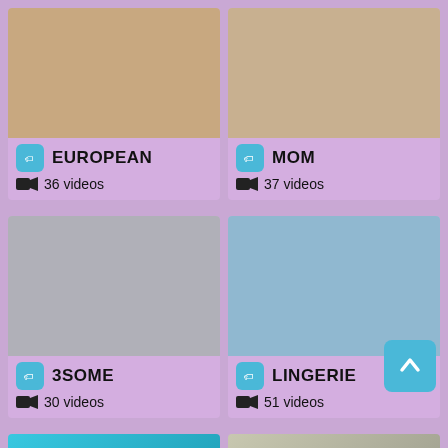[Figure (photo): Thumbnail image for EUROPEAN category]
EUROPEAN
36 videos
[Figure (photo): Thumbnail image for MOM category]
MOM
37 videos
[Figure (photo): Thumbnail image for 3SOME category]
3SOME
30 videos
[Figure (photo): Thumbnail image for LINGERIE category]
LINGERIE
51 videos
[Figure (photo): Partial thumbnail at bottom left]
[Figure (photo): Partial thumbnail at bottom right]